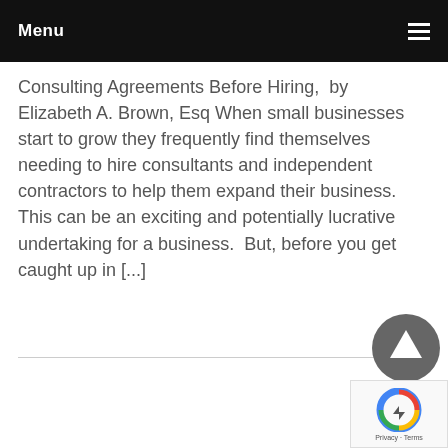Menu
Consulting Agreements Before Hiring,  by Elizabeth A. Brown, Esq When small businesses start to grow they frequently find themselves needing to hire consultants and independent contractors to help them expand their business.  This can be an exciting and potentially lucrative undertaking for a business.  But, before you get caught up in [...]
Read more...
[Figure (other): Circular up-arrow navigation button in dark grey]